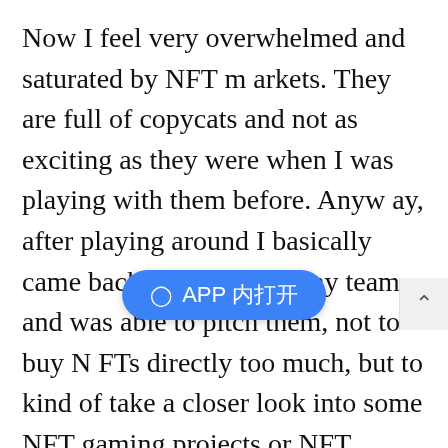Now I feel very overwhelmed and saturated by NFT markets. They are full of copycats and not as exciting as they were when I was playing with them before. Anyway, after playing around I basically came back to the rest of my team and was able to pitch them, not to buy NFTs directly too much, but to kind of take a closer look into some NFT gaming projects or NFT infrastructure projects and formulate a thesis for what we wanted to buy.
There’s a sense in crypto that powerful market participants such as your [APP 内打开] e industry behind the scenes. To what degree is that true?
So I’m not really the type of insider that would be in a